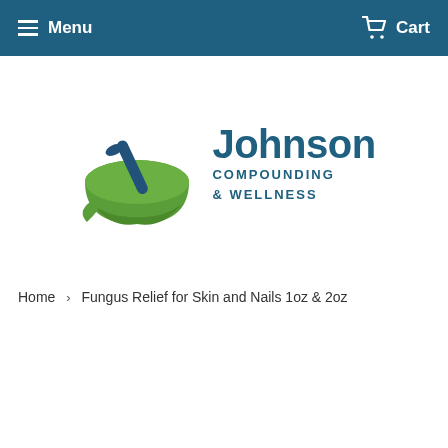Menu   Cart
[Figure (logo): Johnson Compounding & Wellness logo with mortar and pestle icon in green and dark blue]
Home › Fungus Relief for Skin and Nails 1oz & 2oz